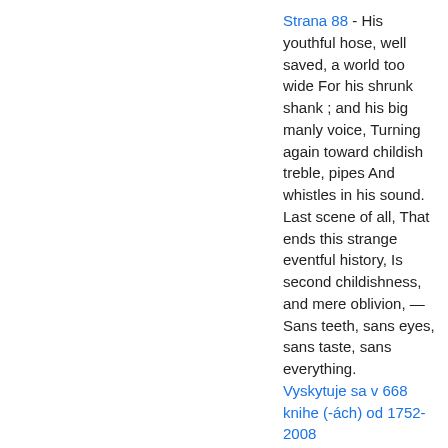Strana 88 - His youthful hose, well saved, a world too wide For his shrunk shank ; and his big manly voice, Turning again toward childish treble, pipes And whistles in his sound. Last scene of all, That ends this strange eventful history, Is second childishness, and mere oblivion, — Sans teeth, sans eyes, sans taste, sans everything. Vyskytuje sa v 668 knihe (-ách) od 1752-2008
Strana 224 - O, it is monstrous, monstrous ! Methought the billows spoke, and told me of it ; The winds did sing it to